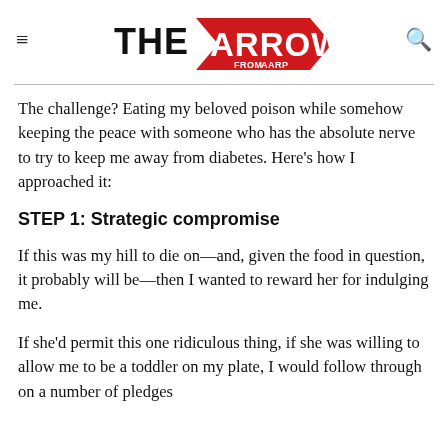THE ARROW FROM AARP
The challenge? Eating my beloved poison while somehow keeping the peace with someone who has the absolute nerve to try to keep me away from diabetes. Here's how I approached it:
STEP 1: Strategic compromise
If this was my hill to die on—and, given the food in question, it probably will be—then I wanted to reward her for indulging me.
If she'd permit this one ridiculous thing, if she was willing to allow me to be a toddler on my plate, I would follow through on a number of pledges